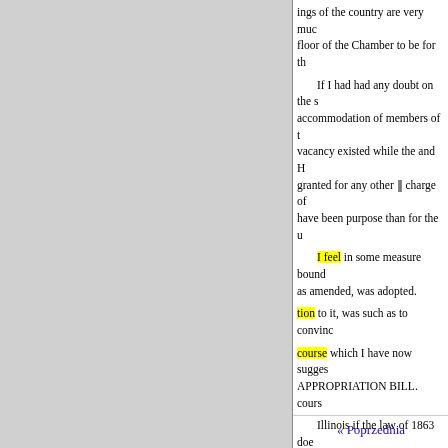ings of the country are very muc floor of the Chamber to be for th
If I had had any doubt on the s accommodation of members of t vacancy existed while the and H granted for any other ‖ charge of have been purpose than for the u
I feel in some measure bound as amended, was adopted.
tion to it, was such as to convinc
course which I have now sugges APPROPRIATION BILL. cours
Illinois if the law of 1863 doe circumstances I have deemed it very case. of the day. proper to n
Mr. TRUMBULL. It does not considered as acting in the face o day; and that is that Mr. SUMNE without this addition to it I shoul
« Poprzednia